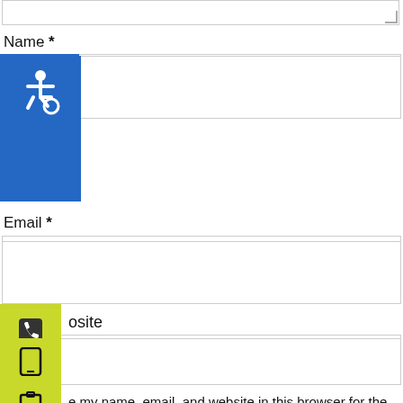[Figure (screenshot): Screenshot of a web comment form showing fields for Name, Email, Website, a save checkbox, and a Post Comment button, with accessibility and contact floating icons on the left side, and a map at the bottom.]
Name *
Email *
osite
e my name, email, and website in this browser for the next time I comment.
Post Comment